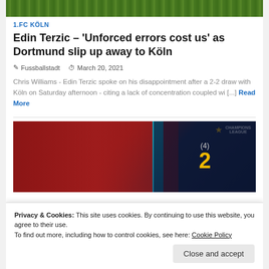[Figure (photo): Green football pitch / grass top image strip]
1.FC KÖLN
Edin Terzic – 'Unforced errors cost us' as Dortmund slip up away to Köln
Fussballstadt   March 20, 2021
Chris Williams - Edin Terzic spoke on his disappointment after a 2-2 draw with Köln on Saturday afternoon - citing a lack of concentration coupled wi [...] Read More
[Figure (photo): Liverpool players in red kit on Champions League match night, scoreboard showing (4) 2]
Privacy & Cookies: This site uses cookies. By continuing to use this website, you agree to their use.
To find out more, including how to control cookies, see here: Cookie Policy
Close and accept
CENTRAL EUROPE